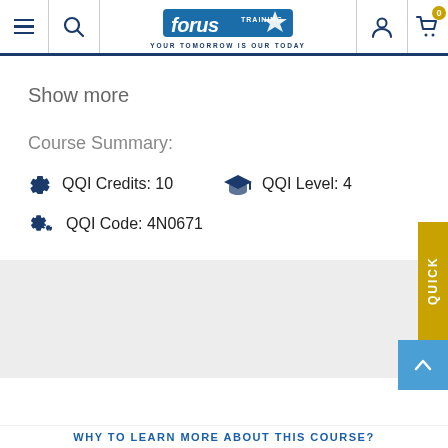Forus Training - Your Tomorrow Is Our Today
Show more
Course Summary:
QQI Credits: 10
QQI Level: 4
QQI Code: 4N0671
WHY TO LEARN MORE ABOUT THIS COURSE?